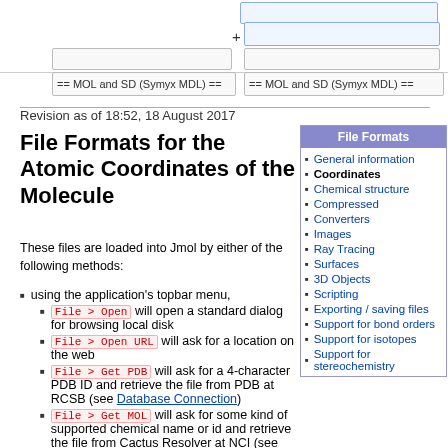[Figure (screenshot): Top UI area showing input boxes and MOL/SD format labels]
Revision as of 18:52, 18 August 2017
File Formats for the Atomic Coordinates of the Molecule
These files are loaded into Jmol by either of the following methods:
File Formats sidebar with links: General information, Coordinates (bold), Chemical structure, Compressed, Converters, Images, Ray Tracing, Surfaces, 3D Objects, Scripting, Exporting / saving files, Support for bond orders, Support for isotopes, Support for stereochemistry
using the application's topbar menu,
File > Open will open a standard dialog for browsing local disk
File > Open URL will ask for a location on the web
File > Get PDB will ask for a 4-character PDB ID and retrieve the file from PDB at RCSB (see Database Connection)
File > Get MOL will ask for some kind of supported chemical name or id and retrieve the file from Cactus Resolver at NCI (see